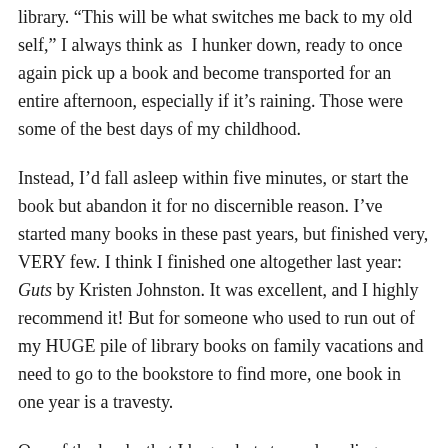library. “This will be what switches me back to my old self,” I always think as  I hunker down, ready to once again pick up a book and become transported for an entire afternoon, especially if it’s raining. Those were some of the best days of my childhood.
Instead, I’d fall asleep within five minutes, or start the book but abandon it for no discernible reason. I’ve started many books in these past years, but finished very, VERY few. I think I finished one altogether last year: Guts by Kristen Johnston. It was excellent, and I highly recommend it! But for someone who used to run out of my HUGE pile of library books on family vacations and need to go to the bookstore to find more, one book in one year is a travesty.
One of the books that I began but stopped reading was Wild by Cheryl Strayed. I saw the movie in 2015 and